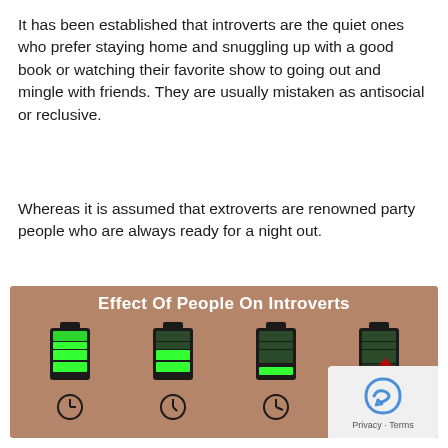It has been established that introverts are the quiet ones who prefer staying home and snuggling up with a good book or watching their favorite show to going out and mingle with friends. They are usually mistaken as antisocial or reclusive.
Whereas it is assumed that extroverts are renowned party people who are always ready for a night out.
[Figure (infographic): Infographic titled 'Effect Of People On Introverts' on a tan/brown background showing four battery icons with decreasing charge levels (full, half, low, empty/draining) each with a clock icon below, illustrating how social interaction drains introverts' energy.]